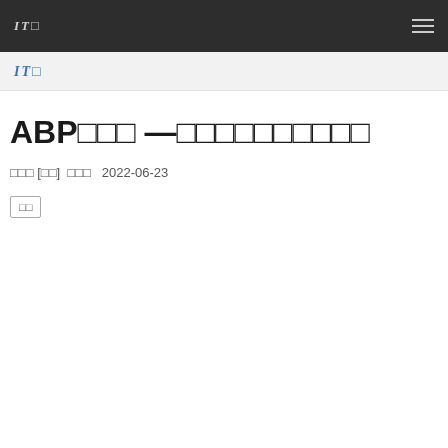ITO
ITO
ABPの展開 —クライアントアプリの属性
山田 太郎 [紩介] 公開日 2022-06-23
行動